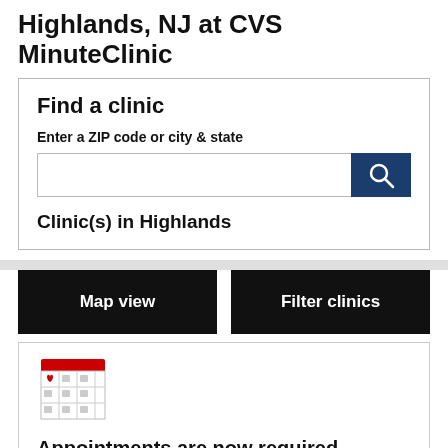Highlands, NJ at CVS MinuteClinic
Find a clinic
Enter a ZIP code or city & state
Clinic(s) in Highlands
Map view
Filter clinics
[Figure (illustration): Calendar icon with a red header bar and a red heart in the upper-left cell of the calendar grid]
Appointments are now required
You will need to schedule online (recommended) or walk in to make an appointment